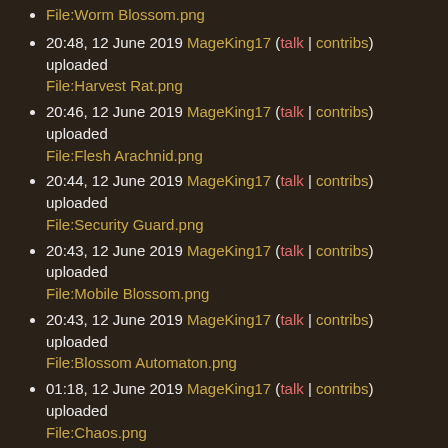File:Worm Blossom.png (partial, top)
20:48, 12 June 2019 MageKing17 (talk | contribs) uploaded File:Harvest Rat.png
20:46, 12 June 2019 MageKing17 (talk | contribs) uploaded File:Flesh Arachnid.png
20:44, 12 June 2019 MageKing17 (talk | contribs) uploaded File:Security Guard.png
20:43, 12 June 2019 MageKing17 (talk | contribs) uploaded File:Mobile Blossom.png
20:43, 12 June 2019 MageKing17 (talk | contribs) uploaded File:Blossom Automaton.png
01:18, 12 June 2019 MageKing17 (talk | contribs) uploaded File:Chaos.png
01:17, 12 June 2019 MageKing17 (talk | contribs) uploaded File:Radiant.png
01:17, 12 June 2019 MageKing17 (talk | contribs) uploaded File:Aura.png
01:17, 12 June 2019 MageKing17 (talk | contribs) uploaded File:Plasma.png
01:17, 12 June 2019 MageKing17 (talk | contribs) uploaded (partial, bottom)